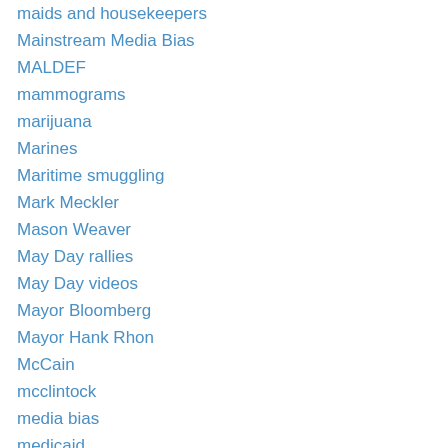maids and housekeepers
Mainstream Media Bias
MALDEF
mammograms
marijuana
Marines
Maritime smuggling
Mark Meckler
Mason Weaver
May Day rallies
May Day videos
Mayor Bloomberg
Mayor Hank Rhon
McCain
mcclintock
media bias
medicaid
medicare
Meg Whitman
Mel Gibson